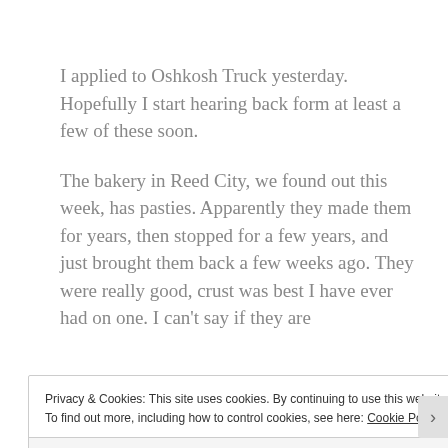I applied to Oshkosh Truck yesterday. Hopefully I start hearing back form at least a few of these soon.
The bakery in Reed City, we found out this week, has pasties. Apparently they made them for years, then stopped for a few years, and just brought them back a few weeks ago. They were really good, crust was best I have ever had on one. I can’t say if they are
Privacy & Cookies: This site uses cookies. By continuing to use this website, you agree to their use.
To find out more, including how to control cookies, see here: Cookie Policy
Close and accept